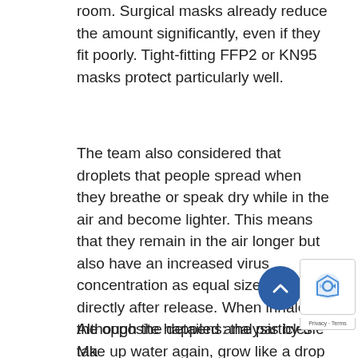room. Surgical masks already reduce the amount significantly, even if they fit poorly. Tight-fitting FFP2 or KN95 masks protect particularly well.
The team also considered that droplets that people spread when they breathe or speak dry while in the air and become lighter. This means that they remain in the air longer but also have an increased virus concentration as equal size droplets directly after release. When inhaled, the opposite happens: the particles take up water again, grow like a drop in the cloud and therefore deposit more easily in the respiratory tract.
Although the detailed analysis by the Ma... researchers in Göttingen shows that tight-fitting